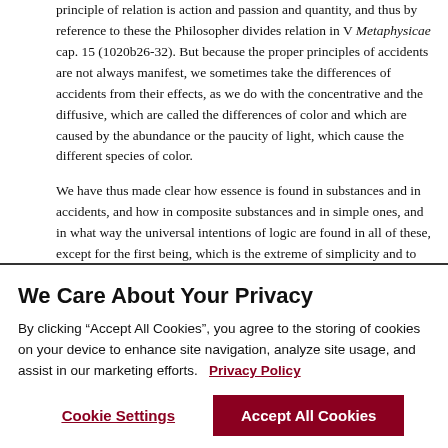principle of relation is action and passion and quantity, and thus by reference to these the Philosopher divides relation in V Metaphysicae cap. 15 (1020b26-32). But because the proper principles of accidents are not always manifest, we sometimes take the differences of accidents from their effects, as we do with the concentrative and the diffusive, which are called the differences of color and which are caused by the abundance or the paucity of light, which cause the different species of color.

We have thus made clear how essence is found in substances and in accidents, and how in composite substances and in simple ones, and in what way the universal intentions of logic are found in all of these, except for the first being, which is the extreme of simplicity and to
We Care About Your Privacy
By clicking “Accept All Cookies”, you agree to the storing of cookies on your device to enhance site navigation, analyze site usage, and assist in our marketing efforts.   Privacy Policy
Cookie Settings
Accept All Cookies